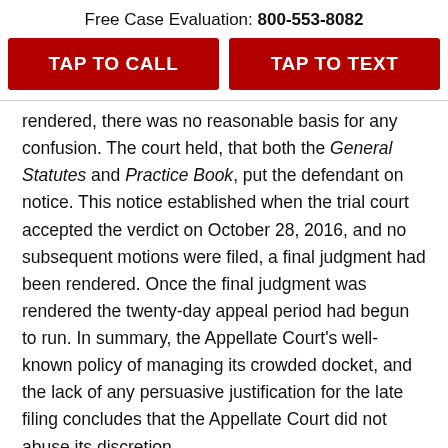Free Case Evaluation: 800-553-8082
TAP TO CALL
TAP TO TEXT
rendered, there was no reasonable basis for any confusion. The court held, that both the General Statutes and Practice Book, put the defendant on notice. This notice established when the trial court accepted the verdict on October 28, 2016, and no subsequent motions were filed, a final judgment had been rendered. Once the final judgment was rendered the twenty-day appeal period had begun to run. In summary, the Appellate Court's well-known policy of managing its crowded docket, and the lack of any persuasive justification for the late filing concludes that the Appellate Court did not abuse its discretion.